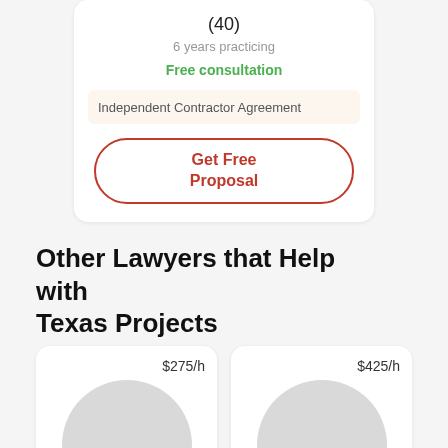(40)
6 years practicing
Free consultation
Independent Contractor Agreement
Get Free Proposal
Other Lawyers that Help with Texas Projects
$275/h
[Figure (photo): Gray circle placeholder for lawyer avatar]
$425/h
[Figure (photo): Gray circle placeholder for lawyer avatar]